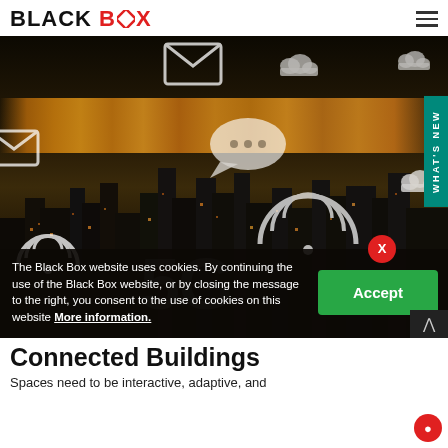BLACK BOX
[Figure (photo): Night city skyline with connectivity icons (WiFi, cloud, email, chat, 5G) overlay, dark background with warm city glow]
The Black Box website uses cookies. By continuing the use of the Black Box website, or by closing the message to the right, you consent to the use of cookies on this website More information.
Connected Buildings
Spaces need to be interactive, adaptive, and